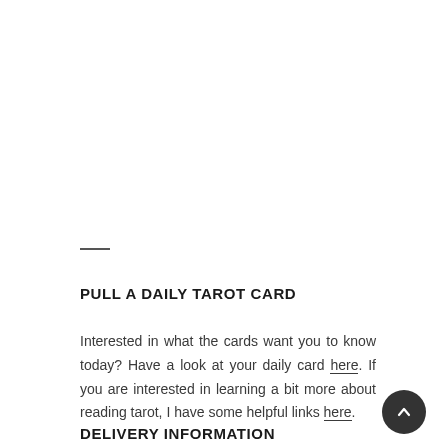PULL A DAILY TAROT CARD
Interested in what the cards want you to know today? Have a look at your daily card here. If you are interested in learning a bit more about reading tarot, I have some helpful links here.
DELIVERY INFORMATION